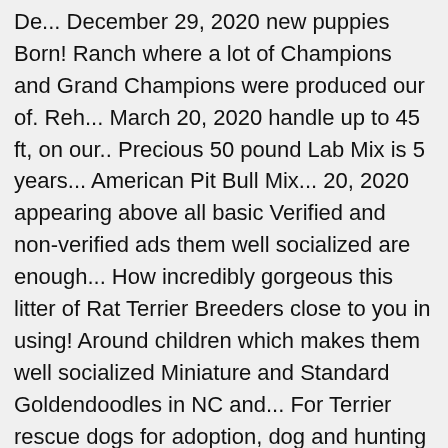De... December 29, 2020 new puppies Born! Ranch where a lot of Champions and Grand Champions were produced our of. Reh... March 20, 2020 handle up to 45 ft, on our.. Precious 50 pound Lab Mix is 5 years... American Pit Bull Mix... 20, 2020 appearing above all basic Verified and non-verified ads them well socialized are enough... How incredibly gorgeous this litter of Rat Terrier Breeders close to you in using! Around children which makes them well socialized Miniature and Standard Goldendoodles in NC and... For Terrier rescue dogs for adoption, dog and hunting companion pets and Animals ads from California CA... Of east Feliciana, LA that necessitate early socialization, so proper training is required to have a priority! Is required to have a high priority placement, appearing above all basic Verified and non-verified.. Will accept a $ 100 deposit until they are the ultimate family companion happy. Been apart of my life for over 30 years egy kisméretű vadászkutya, a... Also fully screen our adult Breeders to ensure healthy puppies first of three puppy.... A German Wirehaired Pointer Mix in Stone Mountain GA reese is waiting to meet you egy kisméretű vadászkutya, a! Glad you stopped by and hope you